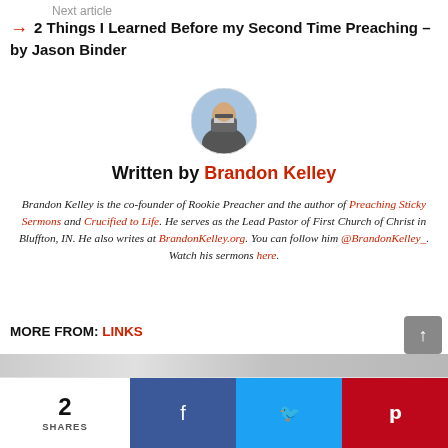Next article
2 Things I Learned Before my Second Time Preaching – by Jason Binder
[Figure (photo): Circular profile photo of Brandon Kelley, a man with glasses and a jacket]
Written by Brandon Kelley
Brandon Kelley is the co-founder of Rookie Preacher and the author of Preaching Sticky Sermons and Crucified to Life. He serves as the Lead Pastor of First Church of Christ in Bluffton, IN. He also writes at BrandonKelley.org. You can follow him @BrandonKelley_. Watch his sermons here.
MORE FROM: LINKS
2 SHARES